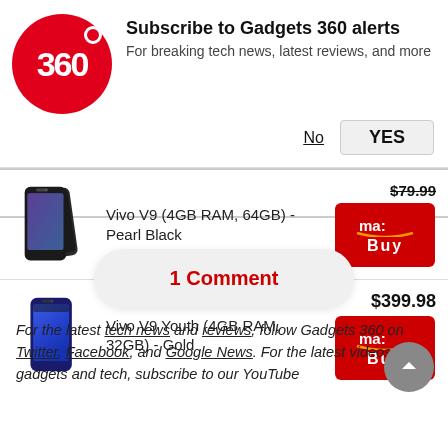[Figure (screenshot): Gadgets 360 notification subscription banner with logo, title, subtitle, No and YES buttons]
| Product Image | Product Name | Price | Buy |
| --- | --- | --- | --- |
| [Vivo V9 Black phone image] | Vivo V9 (4GB RAM, 64GB) - Pearl Black | $79.99 | Amazon Buy |
| [Vivo V9 Youth Blue phone image] | Vivo V9 Youth (4GB RAM, 32GB) - Gold | $399.98 | Amazon Buy |
1 Comment
For the latest tech news and reviews, follow Gadgets 360 on Twitter, Facebook, and Google News. For the latest videos on gadgets and tech, subscribe to our YouTube